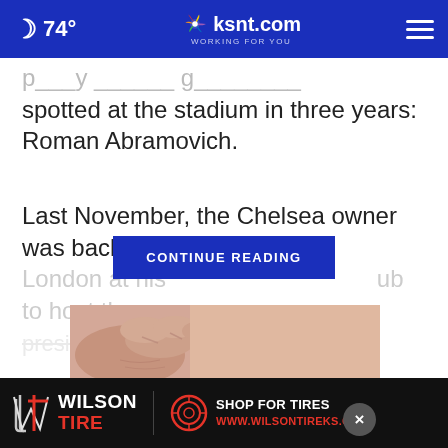74° | ksnt.com WORKING FOR YOU
spotted at the stadium in three years: Roman Abramovich.
Last November, the Chelsea owner was back in London at his [CONTINUE READING] ub to host the president of [...]
[Figure (photo): Close-up photo of a hand touching or pointing at a mole on skin]
[Figure (logo): Wilson Tire advertisement banner: Wilson Tire logo on black background, SHOP FOR TIRES, WWW.WILSONTIREKS.COM in red]